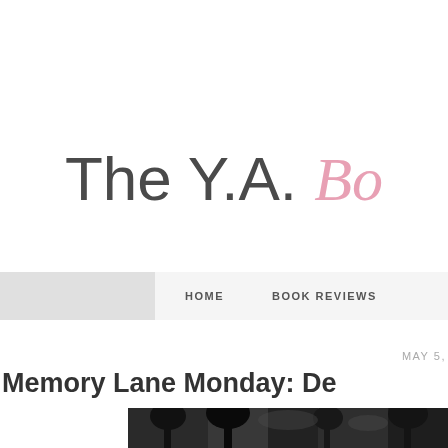The Y.A. Bo
HOME   BOOK REVIEWS
MAY 5,
Memory Lane Monday: De
[Figure (photo): Dark outdoor photo showing trees and a figure, partially visible at bottom of page]